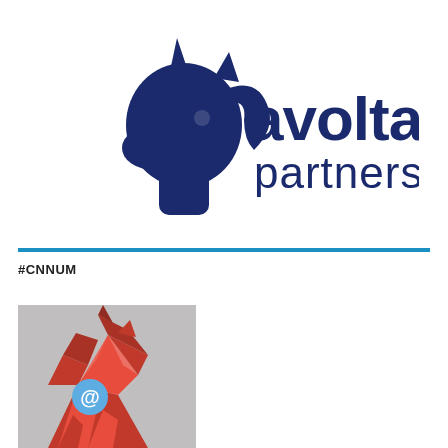[Figure (logo): Avolta Partners logo: dark navy unicorn head silhouette on left, bold navy text 'avolta' on top and 'partners' below on right]
#CNNUM
[Figure (photo): Red geometric low-poly horse/unicorn head figure with a light blue @ symbol on its neck, set against a grey blurred background]